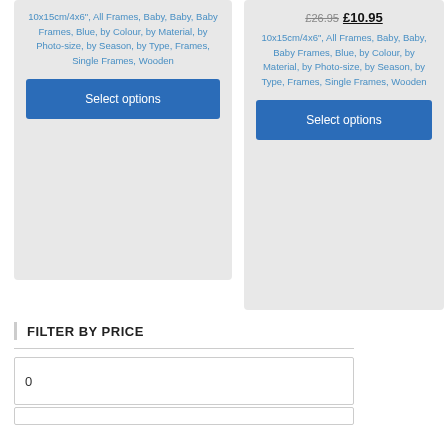10x15cm/4x6", All Frames, Baby, Baby, Baby Frames, Blue, by Colour, by Material, by Photo-size, by Season, by Type, Frames, Single Frames, Wooden
Select options
£26.95 £10.95
10x15cm/4x6", All Frames, Baby, Baby, Baby Frames, Blue, by Colour, by Material, by Photo-size, by Season, by Type, Frames, Single Frames, Wooden
Select options
FILTER BY PRICE
0